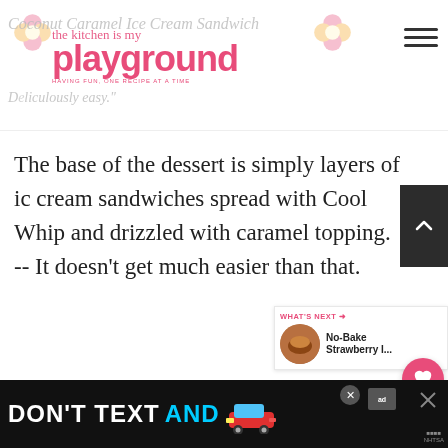The Kitchen is My Playground — Coconut Caramel Ice Cream Sandwich
The base of the dessert is simply layers of ice cream sandwiches spread with Cool Whip and drizzled with caramel topping. -- It doesn't get much easier than that.
[Figure (screenshot): What's Next sidebar showing No-Bake Strawberry I... with thumbnail image]
[Figure (screenshot): Ad banner at bottom: DON'T TEXT AND [car image] with NHTSA logo]